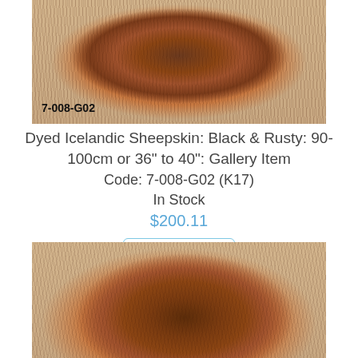[Figure (photo): Photo of a dyed Icelandic sheepskin in black and rusty brown colors, laid flat on a light gray background. Code label '7-008-G02' visible in lower left corner.]
Dyed Icelandic Sheepskin: Black & Rusty: 90-100cm or 36" to 40": Gallery Item
Code: 7-008-G02 (K17)
In Stock
$200.11
View
[Figure (photo): Photo of a dyed Icelandic sheepskin in rich dark brown/rusty color, laid on a light background, partially cropped at bottom of page.]